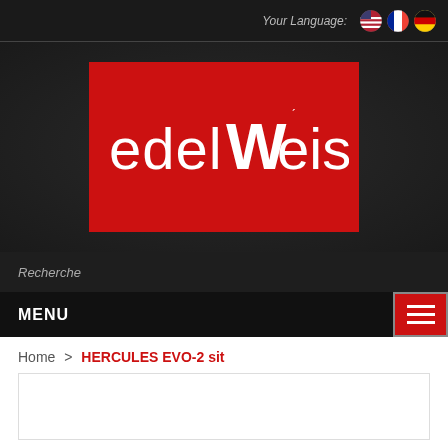Your Language:
[Figure (logo): Edelweiss logo: white stylized lowercase text 'edelWeiss' on a red rectangle background]
Recherche
MENU
Home > HERCULES EVO-2 sit